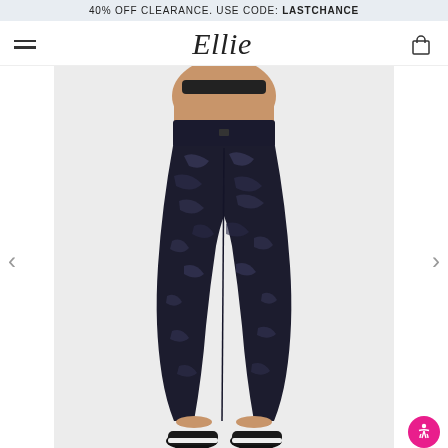40% OFF CLEARANCE. USE CODE: LASTCHANCE
[Figure (screenshot): Ellie brand navigation bar with hamburger menu on left, cursive 'Ellie' logo in center, and shopping bag icon on right]
[Figure (photo): Back view of a woman wearing black metallic/foil textured high-waist leggings and black sneakers against a light background, with navigation arrows on left and right sides]